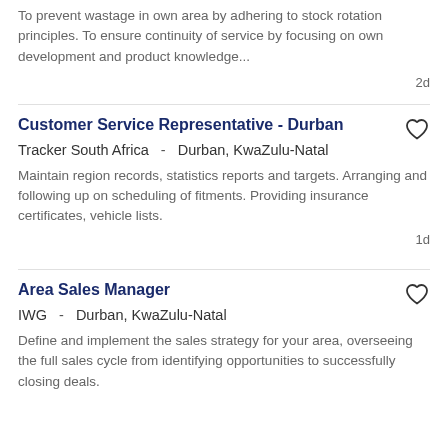To prevent wastage in own area by adhering to stock rotation principles. To ensure continuity of service by focusing on own development and product knowledge...
2d
Customer Service Representative - Durban
Tracker South Africa -  Durban, KwaZulu-Natal
Maintain region records, statistics reports and targets. Arranging and following up on scheduling of fitments. Providing insurance certificates, vehicle lists.
1d
Area Sales Manager
IWG -  Durban, KwaZulu-Natal
Define and implement the sales strategy for your area, overseeing the full sales cycle from identifying opportunities to successfully closing deals.